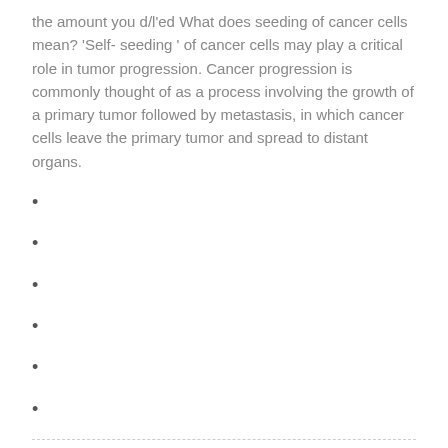the amount you d/l'ed What does seeding of cancer cells mean? 'Self- seeding ' of cancer cells may play a critical role in tumor progression. Cancer progression is commonly thought of as a process involving the growth of a primary tumor followed by metastasis, in which cancer cells leave the primary tumor and spread to distant organs.